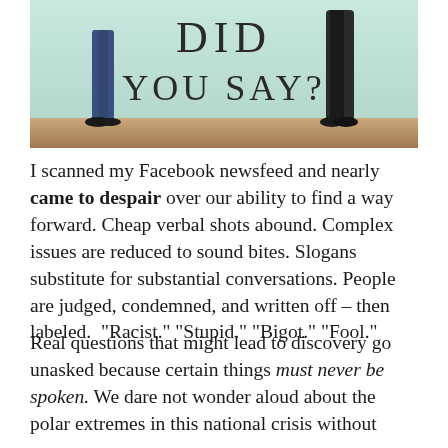[Figure (photo): Book cover image showing two people facing each other with large text reading 'DID YOU SAY?' on a light background]
I scanned my Facebook newsfeed and nearly came to despair over our ability to find a way forward. Cheap verbal shots abound. Complex issues are reduced to sound bites. Slogans substitute for substantial conversations. People are judged, condemned, and written off – then labeled.  "Racist." "Stupid." "Bigot." "Fool."
Real questions that might lead to discovery go unasked because certain things must never be spoken. We dare not wonder aloud about the polar extremes in this national crisis without